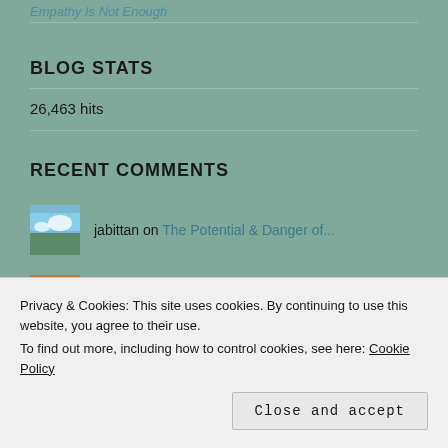Empathy Is Not Enough
BLOG STATS
26,463 hits
RECENT COMMENTS
jabittan on The Potential & Danger of...
sharonL on The Potential & Danger of...
Privacy & Cookies: This site uses cookies. By continuing to use this website, you agree to their use.
To find out more, including how to control cookies, see here: Cookie Policy
Close and accept